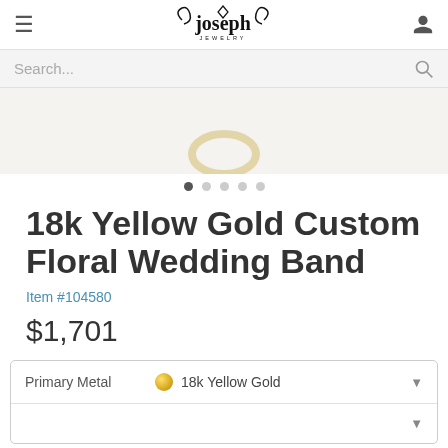Joseph Jewelry
[Figure (screenshot): Website screenshot showing a search bar with placeholder text 'Search...' and a search icon on the right]
[Figure (photo): Product image area showing top portion of a 18k Yellow Gold Custom Floral Wedding Band ring, with carousel dots indicating 5 images]
18k Yellow Gold Custom Floral Wedding Band
Item #104580
$1,701
| Primary Metal |  | 18k Yellow Gold |  |
| --- | --- | --- | --- |
| Primary Metal |  | 18k Yellow Gold | ▼ |
|  |  |  | ▼ |